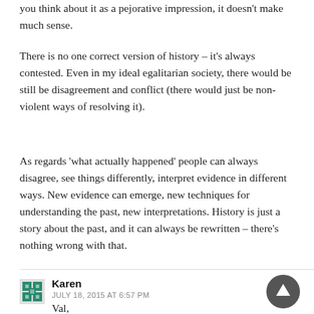you think about it as a pejorative impression, it doesn't make much sense.
There is no one correct version of history – it's always contested. Even in my ideal egalitarian society, there would be still be disagreement and conflict (there would just be non-violent ways of resolving it).
As regards 'what actually happened' people can always disagree, see things differently, interpret evidence in different ways. New evidence can emerge, new techniques for understanding the past, new interpretations. History is just a story about the past, and it can always be rewritten – there's nothing wrong with that.
Karen
JULY 18, 2015 AT 6:57 PM
Val,